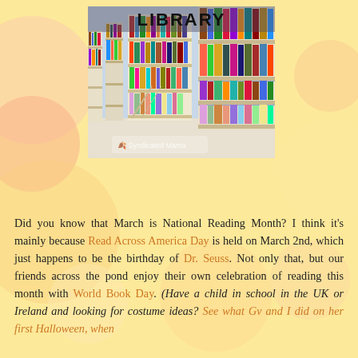[Figure (photo): Photo of library bookshelves filled with colorful books, with 'LIBRARY' text overlaid at the top in bold black letters. A watermark reads 'Syndicated Mama' at the bottom.]
Did you know that March is National Reading Month?  I think it's mainly because Read Across America Day is held on March 2nd, which just happens to be the birthday of Dr. Seuss.  Not only that, but our friends across the pond enjoy their own celebration of reading this month with World Book Day.  (Have a child in school in the UK or Ireland and looking for costume ideas?  See what Gv and I did on her first Halloween, when